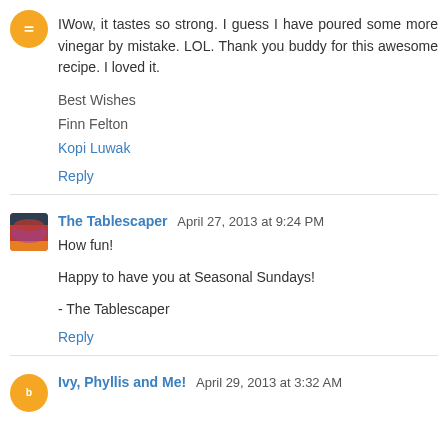IWow, it tastes so strong. I guess I have poured some more vinegar by mistake. LOL. Thank you buddy for this awesome recipe. I loved it.
Best Wishes
Finn Felton
Kopi Luwak
Reply
The Tablescaper  April 27, 2013 at 9:24 PM
How fun!

Happy to have you at Seasonal Sundays!

- The Tablescaper
Reply
Ivy, Phyllis and Me!  April 29, 2013 at 3:32 AM